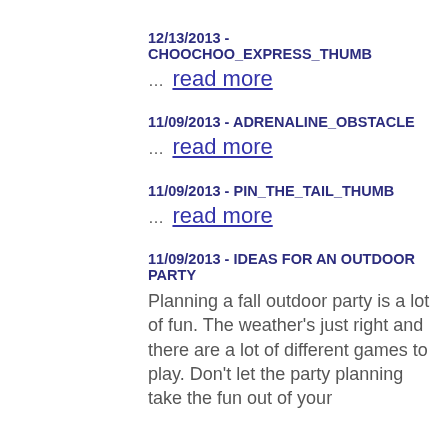12/13/2013 - CHOOCHOO_EXPRESS_THUMB
… read more
11/09/2013 - ADRENALINE_OBSTACLE
… read more
11/09/2013 - PIN_THE_TAIL_THUMB
… read more
11/09/2013 - IDEAS FOR AN OUTDOOR PARTY
Planning a fall outdoor party is a lot of fun. The weather's just right and there are a lot of different games to play. Don't let the party planning take the fun out of your